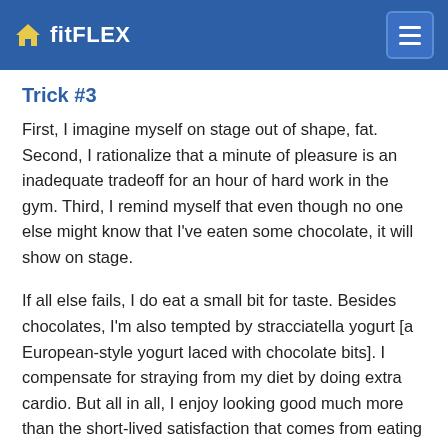fitFLEX
Trick #3
First, I imagine myself on stage out of shape, fat. Second, I rationalize that a minute of pleasure is an inadequate tradeoff for an hour of hard work in the gym. Third, I remind myself that even though no one else might know that I've eaten some chocolate, it will show on stage.
If all else fails, I do eat a small bit for taste. Besides chocolates, I'm also tempted by stracciatella yogurt [a European-style yogurt laced with chocolate bits]. I compensate for straying from my diet by doing extra cardio. But all in all, I enjoy looking good much more than the short-lived satisfaction that comes from eating